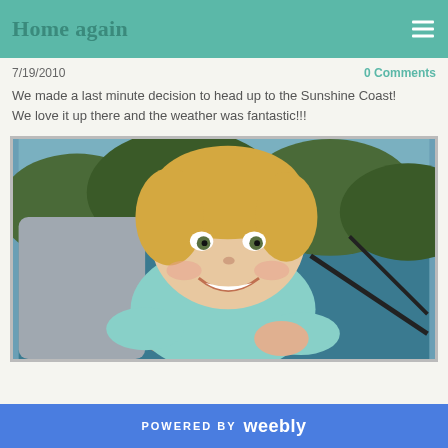Home again
7/19/2010
0 Comments
We made a last minute decision to head up to the Sunshine Coast!
We love it up there and the weather was fantastic!!!
[Figure (photo): A smiling toddler with blonde hair wearing a light blue outfit, sitting on a boat with water and trees visible in the background.]
POWERED BY weebly